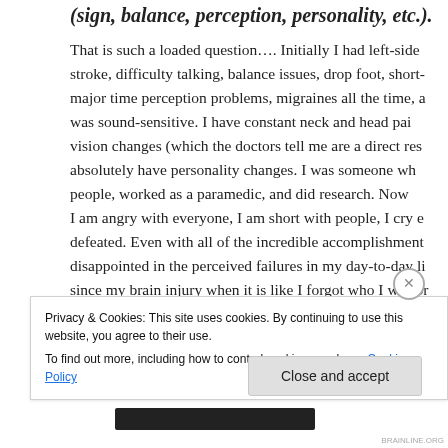(sign, balance, perception, personality, etc.).
That is such a loaded question…. Initially I had left-sided stroke, difficulty talking, balance issues, drop foot, short- major time perception problems, migraines all the time, a was sound-sensitive. I have constant neck and head pai vision changes (which the doctors tell me are a direct res absolutely have personality changes. I was someone wh people, worked as a paramedic, and did research. Now I am angry with everyone, I am short with people, I cry e defeated. Even with all of the incredible accomplishment disappointed in the perceived failures in my day-to-day li since my brain injury when it is like I forgot who I was or stood for, and I hurt the ones who have always cared fo
Privacy & Cookies: This site uses cookies. By continuing to use this website, you agree to their use.
To find out more, including how to control cookies, see here: Cookie Policy